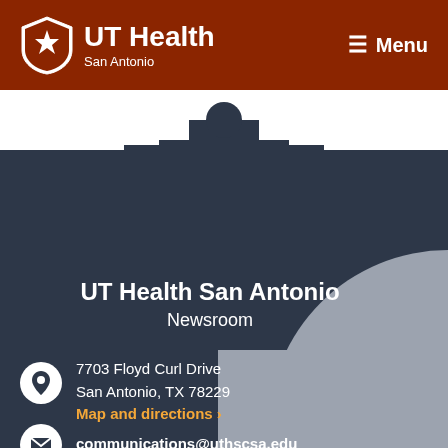UT Health San Antonio — Menu
[Figure (illustration): Building silhouette / architectural shape in dark gray on white and dark background with gray quarter-circle decoration]
UT Health San Antonio
Newsroom
7703 Floyd Curl Drive
San Antonio, TX 78229
Map and directions ›
communications@uthscsa.edu